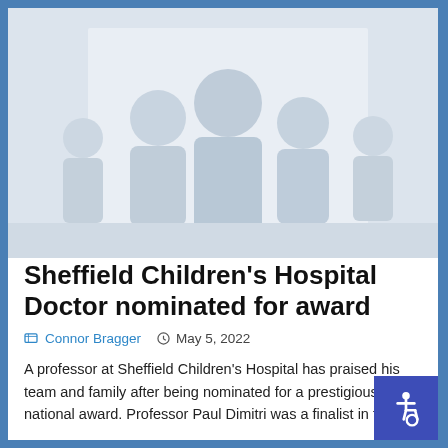[Figure (photo): A photo area showing a person, rendered as a light grey silhouette placeholder image at the top of the article page]
Sheffield Children's Hospital Doctor nominated for award
Connor Bragger   May 5, 2022
A professor at Sheffield Children's Hospital has praised his team and family after being nominated for a prestigious national award. Professor Paul Dimitri was a finalist in the